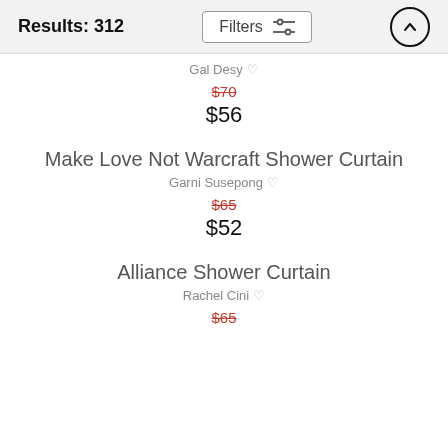Results: 312
Gal Desy
$70 $56
Make Love Not Warcraft Shower Curtain
Garni Susepong
$65 $52
Alliance Shower Curtain
Rachel Cini
$65